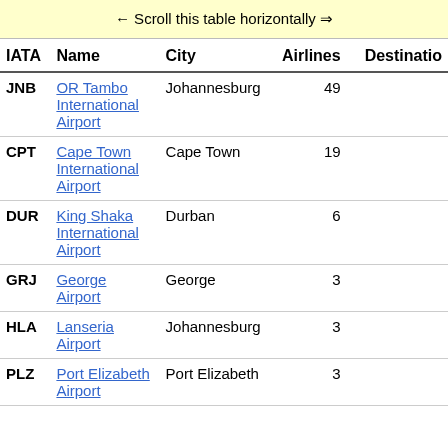← Scroll this table horizontally ⟹
| IATA | Name | City | Airlines | Destinatio… |
| --- | --- | --- | --- | --- |
| JNB | OR Tambo International Airport | Johannesburg | 49 |  |
| CPT | Cape Town International Airport | Cape Town | 19 |  |
| DUR | King Shaka International Airport | Durban | 6 |  |
| GRJ | George Airport | George | 3 |  |
| HLA | Lanseria Airport | Johannesburg | 3 |  |
| PLZ | Port Elizabeth Airport | Port Elizabeth | 3 |  |